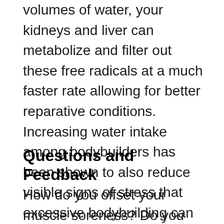volumes of water, your kidneys and liver can metabolize and filter out these free radicals at a much faster rate allowing for better reparative conditions. Increasing water intake among bodybuilders has been shown to also reduce visible signs of stress that excessive bodybuilding can produce. Guys that take the challenge to drink more water often find themselves to have clearer, healthier skin alongside faster muscle recovery.
Questions and Feedback
How do you offset your muscle soreness? Do you have any in-depth questions regarding the ideas